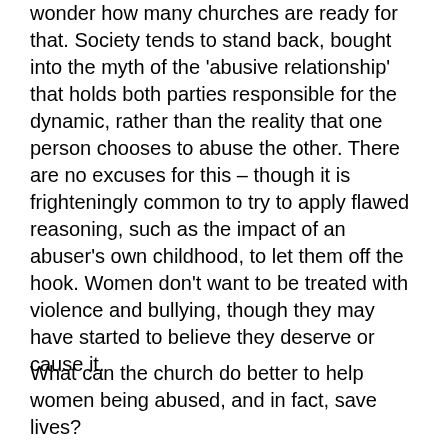wonder how many churches are ready for that. Society tends to stand back, bought into the myth of the 'abusive relationship' that holds both parties responsible for the dynamic, rather than the reality that one person chooses to abuse the other. There are no excuses for this – though it is frighteningly common to try to apply flawed reasoning, such as the impact of an abuser's own childhood, to let them off the hook. Women don't want to be treated with violence and bullying, though they may have started to believe they deserve or cause it.
What can the church do better to help women being abused, and in fact, save lives?